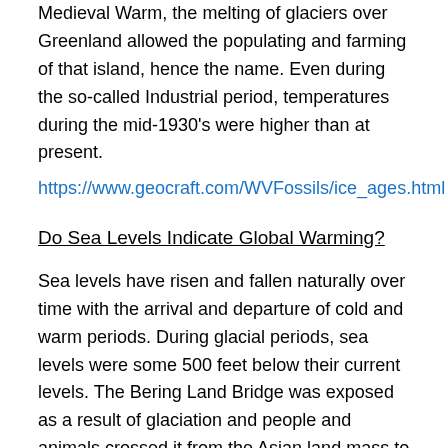Medieval Warm, the melting of glaciers over Greenland allowed the populating and farming of that island, hence the name. Even during the so-called Industrial period, temperatures during the mid-1930's were higher than at present.
https://www.geocraft.com/WVFossils/ice_ages.html
Do Sea Levels Indicate Global Warming?
Sea levels have risen and fallen naturally over time with the arrival and departure of cold and warm periods. During glacial periods, sea levels were some 500 feet below their current levels. The Bering Land Bridge was exposed as a result of glaciation and people and animals crossed it from the Asian land mass to North America.
Since 1850, sea levels have been rising at the overall rate of about a half inch per year. Those rates are affected